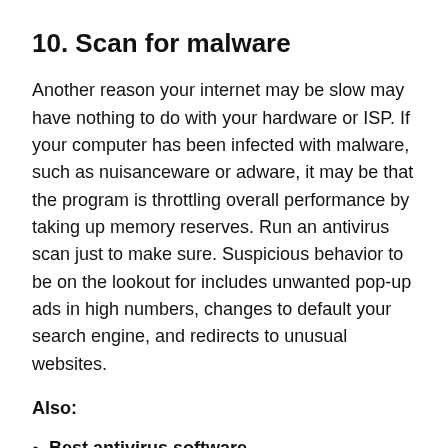10. Scan for malware
Another reason your internet may be slow may have nothing to do with your hardware or ISP. If your computer has been infected with malware, such as nuisanceware or adware, it may be that the program is throttling overall performance by taking up memory reserves. Run an antivirus scan just to make sure. Suspicious behavior to be on the lookout for includes unwanted pop-up ads in high numbers, changes to default your search engine, and redirects to unusual websites.
Also:
Best antivirus software
Antivirus software ranked: